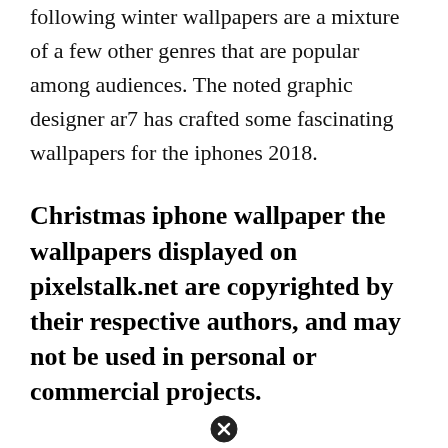following winter wallpapers are a mixture of a few other genres that are popular among audiences. The noted graphic designer ar7 has crafted some fascinating wallpapers for the iphones 2018.
Christmas iphone wallpaper the wallpapers displayed on pixelstalk.net are copyrighted by their respective authors, and may not be used in personal or commercial projects.